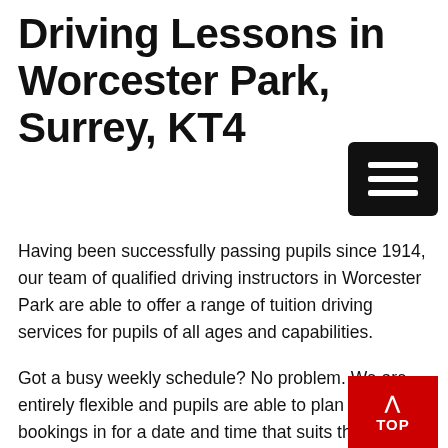Driving Lessons in Worcester Park, Surrey, KT4
Having been successfully passing pupils since 1914, our team of qualified driving instructors in Worcester Park are able to offer a range of tuition driving services for pupils of all ages and capabilities.
Got a busy weekly schedule? No problem. We are entirely flexible and pupils are able to plan their bookings in for a date and time that suits them.
We can work our lessons around the ability to provide collection and return to your Worcester Park property in the newest model vehicles, allowing you to learn to drive with the newest technologies, whether it be within a manual or automatic car.